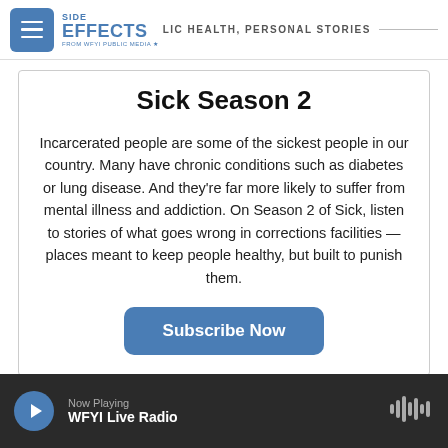SIDE EFFECTS — PUBLIC HEALTH, PERSONAL STORIES — FROM WFYI PUBLIC MEDIA
Sick Season 2
Incarcerated people are some of the sickest people in our country. Many have chronic conditions such as diabetes or lung disease. And they're far more likely to suffer from mental illness and addiction. On Season 2 of Sick, listen to stories of what goes wrong in corrections facilities — places meant to keep people healthy, but built to punish them.
Subscribe Now
Now Playing
WFYI Live Radio